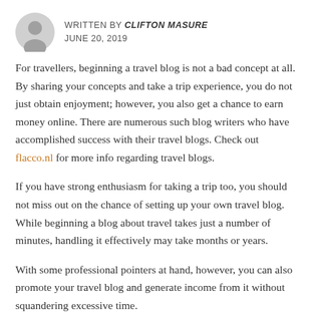WRITTEN BY CLIFTON MASURE
JUNE 20, 2019
For travellers, beginning a travel blog is not a bad concept at all. By sharing your concepts and take a trip experience, you do not just obtain enjoyment; however, you also get a chance to earn money online. There are numerous such blog writers who have accomplished success with their travel blogs. Check out flacco.nl for more info regarding travel blogs.
If you have strong enthusiasm for taking a trip too, you should not miss out on the chance of setting up your own travel blog. While beginning a blog about travel takes just a number of minutes, handling it effectively may take months or years.
With some professional pointers at hand, however, you can also promote your travel blog and generate income from it without squandering excessive time.